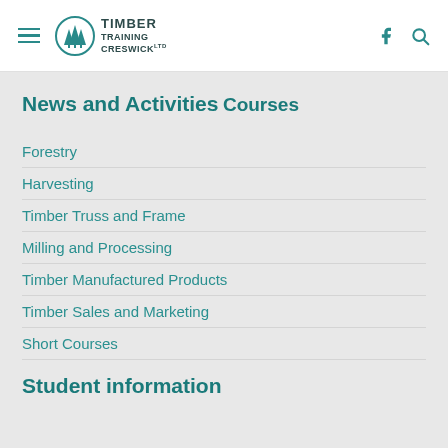Timber Training Creswick — site header with navigation menu, logo, Facebook icon, search icon
News and Activities
Courses
Forestry
Harvesting
Timber Truss and Frame
Milling and Processing
Timber Manufactured Products
Timber Sales and Marketing
Short Courses
Student information